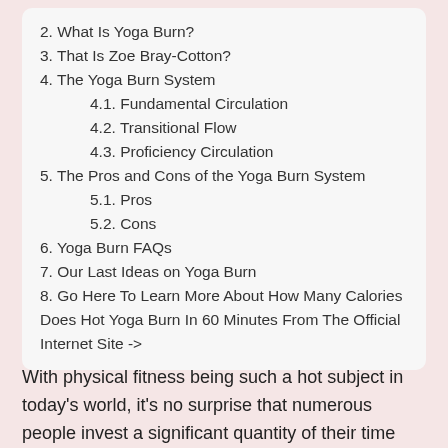2. What Is Yoga Burn?
3. That Is Zoe Bray-Cotton?
4. The Yoga Burn System
4.1. Fundamental Circulation
4.2. Transitional Flow
4.3. Proficiency Circulation
5. The Pros and Cons of the Yoga Burn System
5.1. Pros
5.2. Cons
6. Yoga Burn FAQs
7. Our Last Ideas on Yoga Burn
8. Go Here To Learn More About How Many Calories Does Hot Yoga Burn In 60 Minutes From The Official Internet Site ->
With physical fitness being such a hot subject in today's world, it's no surprise that numerous people invest a significant quantity of their time